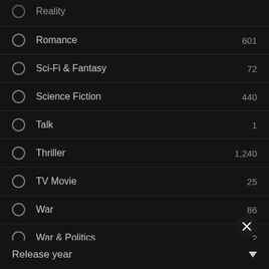Reality
Romance — 601
Sci-Fi & Fantasy — 72
Science Fiction — 440
Talk — 1
Thriller — 1,240
TV Movie — 25
War — 86
War & Politics — 2
Western — 34
Release year